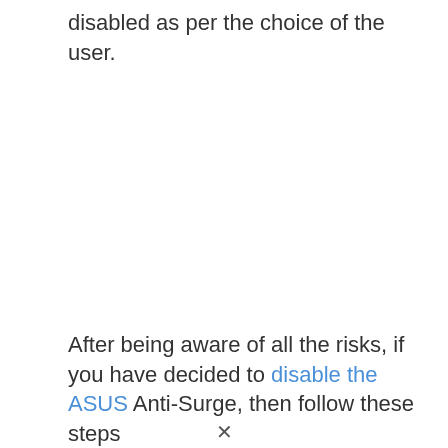disabled as per the choice of the user.
After being aware of all the risks, if you have decided to disable the ASUS Anti-Surge, then follow these steps